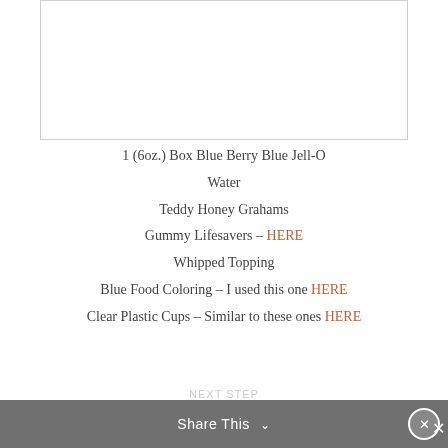[Figure (photo): Empty white image box with border at top of page]
1 (6oz.) Box Blue Berry Blue Jell-O
Water
Teddy Honey Grahams
Gummy Lifesavers – HERE
Whipped Topping
Blue Food Coloring – I used this one HERE
Clear Plastic Cups – Similar to these ones HERE
Share This